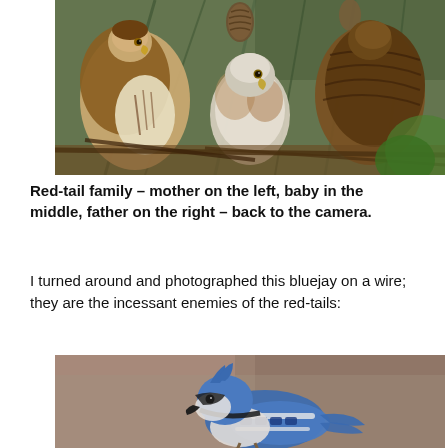[Figure (photo): Red-tailed hawk family in a pine tree nest – mother on the left with brown and white plumage, baby hawk in the middle, father on the right with back to camera, surrounded by green pine needles and pine cones]
Red-tail family – mother on the left, baby in the middle, father on the right – back to the camera.
I turned around and photographed this bluejay on a wire; they are the incessant enemies of the red-tails:
[Figure (photo): Blue jay bird perched, showing distinctive blue and white plumage with black markings, against a blurred brownish background]